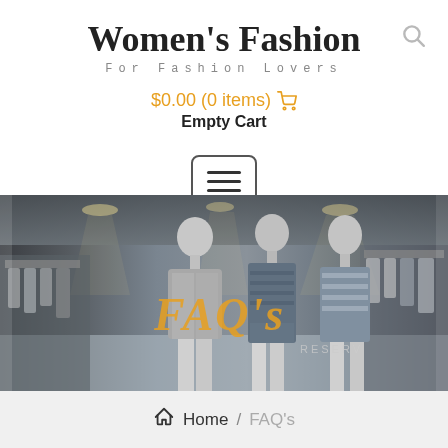Women's Fashion
For Fashion Lovers
$0.00 (0 items) [cart icon]
Empty Cart
[Figure (photo): Fashion store window display with three mannequins wearing women's clothing, black and white/grayscale photo with 'FAQ's' text overlay in orange italic]
Home / FAQ's